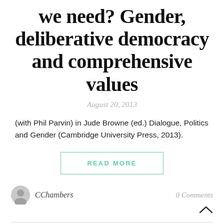we need? Gender, deliberative democracy and comprehensive values
August 20, 2013
(with Phil Parvin) in Jude Browne (ed.) Dialogue, Politics and Gender (Cambridge University Press, 2013).
READ MORE
CChambers
0 Comments
ALL POSTS ON FEMINISM, CHAPTERS, FEMINISM